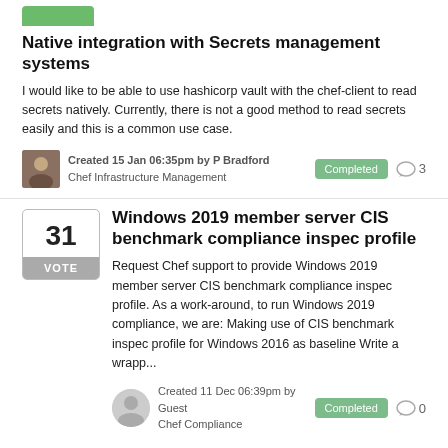Native integration with Secrets management systems
I would like to be able to use hashicorp vault with the chef-client to read secrets natively. Currently, there is not a good method to read secrets easily and this is a common use case.
Created 15 Jan 06:35pm by P Bradford
Chef Infrastructure Management
Completed  3
Windows 2019 member server CIS benchmark compliance inspec profile
Request Chef support to provide Windows 2019 member server CIS benchmark compliance inspec profile. As a work-around, to run Windows 2019 compliance, we are: Making use of CIS benchmark inspec profile for Windows 2016 as baseline Write a wrapp...
Created 11 Dec 06:39pm by Guest
Chef Compliance
Completed  0